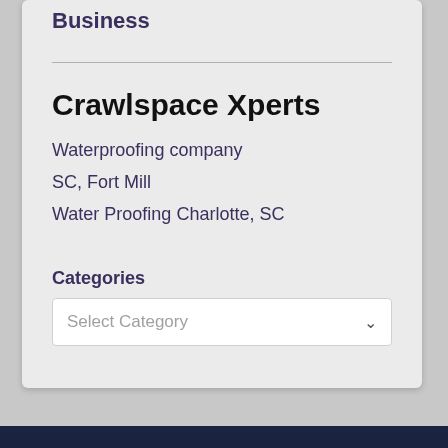Business
Crawlspace Xperts
Waterproofing company
SC, Fort Mill
Water Proofing Charlotte, SC
Categories
Select Category